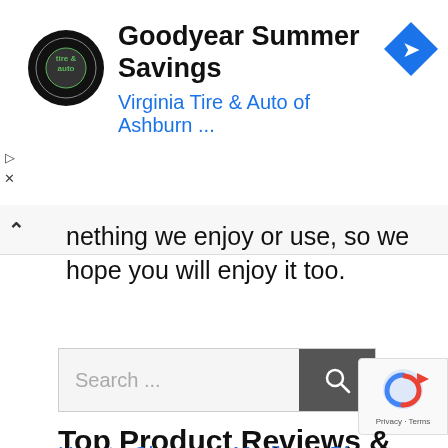[Figure (screenshot): Advertisement banner for Goodyear Summer Savings by Virginia Tire & Auto of Ashburn, with circular tire & auto logo and blue navigation arrow icon]
nething we enjoy or use, so we hope you will enjoy it too.
[Figure (screenshot): Search bar with placeholder text 'Search ...' and a dark gray search button with magnifying glass icon]
Top Product Reviews & Lists
[Figure (screenshot): reCAPTCHA badge with Privacy - Terms text]
How to Choose a Medicare Plan